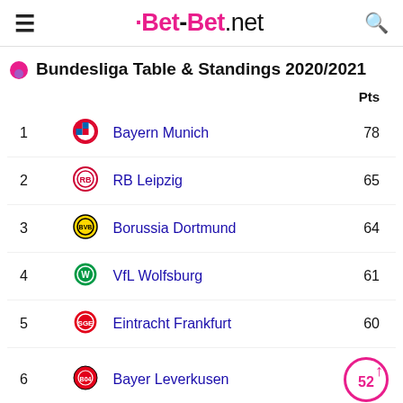Bet-Bet.net
Bundesliga Table & Standings 2020/2021
|  |  | Team | Pts |
| --- | --- | --- | --- |
| 1 | [Bayern Munich logo] | Bayern Munich | 78 |
| 2 | [RB Leipzig logo] | RB Leipzig | 65 |
| 3 | [Borussia Dortmund logo] | Borussia Dortmund | 64 |
| 4 | [VfL Wolfsburg logo] | VfL Wolfsburg | 61 |
| 5 | [Eintracht Frankfurt logo] | Eintracht Frankfurt | 60 |
| 6 | [Bayer Leverkusen logo] | Bayer Leverkusen | 52 |